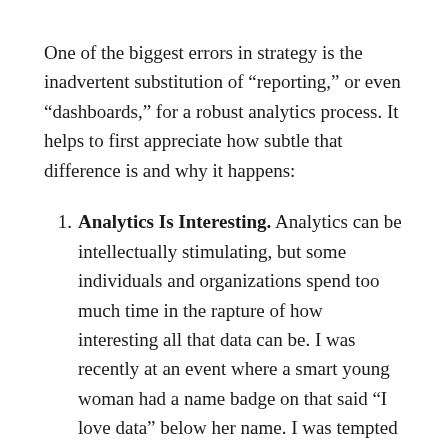One of the biggest errors in strategy is the inadvertent substitution of “reporting,” or even “dashboards,” for a robust analytics process. It helps to first appreciate how subtle that difference is and why it happens:
Analytics Is Interesting. Analytics can be intellectually stimulating, but some individuals and organizations spend too much time in the rapture of how interesting all that data can be. I was recently at an event where a smart young woman had a name badge on that said “I love data” below her name. I was tempted to write “I make money with the data” under my own.